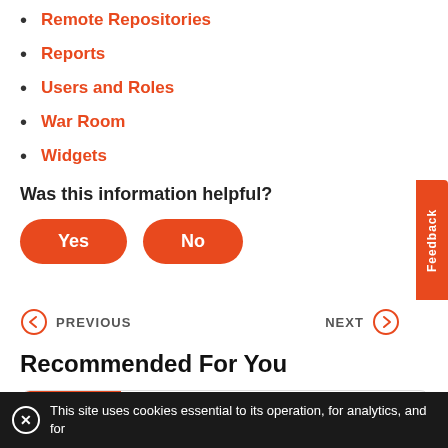Remote Repositories
Reports
Users and Roles
War Room
Widgets
Was this information helpful?
Yes
No
PREVIOUS
NEXT
Recommended For You
Modify Server Configurations
This site uses cookies essential to its operation, for analytics, and for